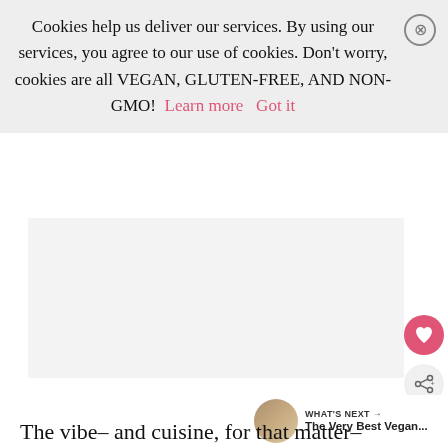Cookies help us deliver our services. By using our services, you agree to our use of cookies. Don't worry, cookies are all VEGAN, GLUTEN-FREE, AND NON-GMO!  Learn more    Got it
[Figure (screenshot): Cookie consent banner with close button (X circle), heart/favorite button (pink circle), share button (light circle), 'What's Next' panel with thumbnail and 'The Very Best Vegan...' text]
The vibe– and cuisine, for that matter– sophisticated and fresh, boasting panoramic, floor-